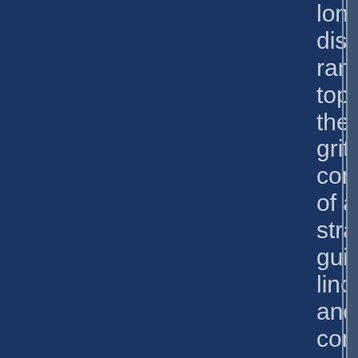long, discussion, ranging in topics from the nitty-gritty construction of a strategy guide, to linquistic and style considerations, to the future of strategy guides and gaming. It was all so fascinating that I followed up the interview with a few more questions